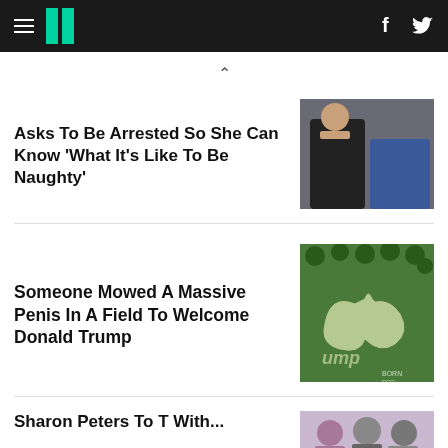HuffPost navigation bar with hamburger menu, logo, Facebook and Twitter icons
Asks To Be Arrested So She Can Know 'What It's Like To Be Naughty'
[Figure (photo): Elderly woman being arrested by police officers]
Someone Mowed A Massive Penis In A Field To Welcome Donald Trump
[Figure (photo): Aerial photo of a field with a large penis shape mowed into grass, text reading 'ump' visible, watermark 'BORN ECO']
Sharon Peters To T With...
[Figure (photo): Group of people at an event, partially visible at bottom of page]